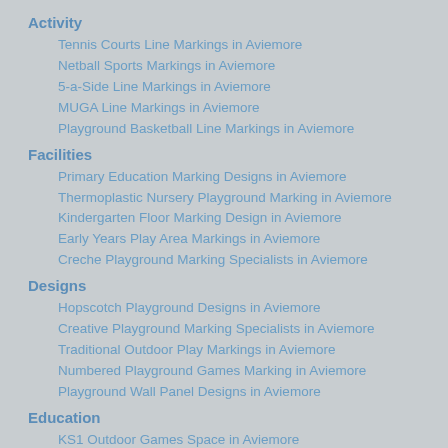Activity
Tennis Courts Line Markings in Aviemore
Netball Sports Markings in Aviemore
5-a-Side Line Markings in Aviemore
MUGA Line Markings in Aviemore
Playground Basketball Line Markings in Aviemore
Facilities
Primary Education Marking Designs in Aviemore
Thermoplastic Nursery Playground Marking in Aviemore
Kindergarten Floor Marking Design in Aviemore
Early Years Play Area Markings in Aviemore
Creche Playground Marking Specialists in Aviemore
Designs
Hopscotch Playground Designs in Aviemore
Creative Playground Marking Specialists in Aviemore
Traditional Outdoor Play Markings in Aviemore
Numbered Playground Games Marking in Aviemore
Playground Wall Panel Designs in Aviemore
Education
KS1 Outdoor Games Space in Aviemore
KS2 Games Markings Installers in Aviemore
Ofsted Playground Design Specialists in Aviemore